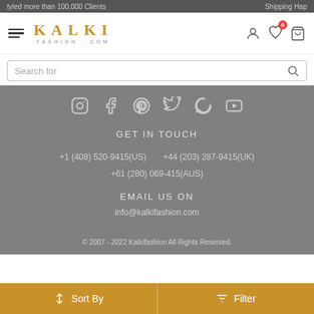tyled more than 100,000 Clients    Shipping Hap...
[Figure (logo): Kalki Fashion.com logo with hamburger menu and nav icons (user, wishlist with badge 0, cart)]
Search for
[Figure (infographic): Social media icons row: Instagram, Facebook, Pinterest, Twitter, WhatsApp, YouTube]
GET IN TOUCH
+1 (408) 520-9415(US)    +44 (203) 287-9415(UK)
+61 (280) 069-415(AUS)
EMAIL US ON
info@kalkifashion.com
Video Shop
© 2007 - 2022 Kalkifashion All Rights Reserved.
↕ Sort By    Filter